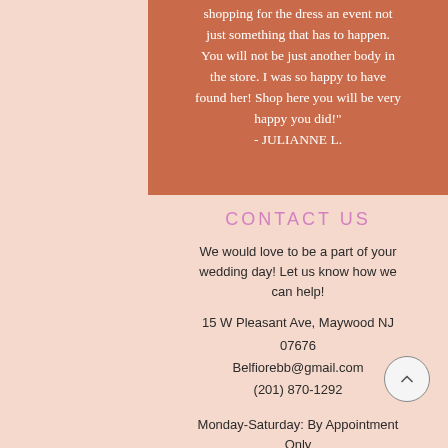shopping for the dress an event not just something that has to happen. You will not be just another body in the store. I was so happy to have found her! Shop here you will be very happy you did!" - JULIANNE L.
CONTACT US
We would love to be a part of your wedding day! Let us know how we can help!
15 W Pleasant Ave, Maywood NJ 07676
Belfiorebb@gmail.com
(201) 870-1292
Monday-Saturday: By Appointment Only